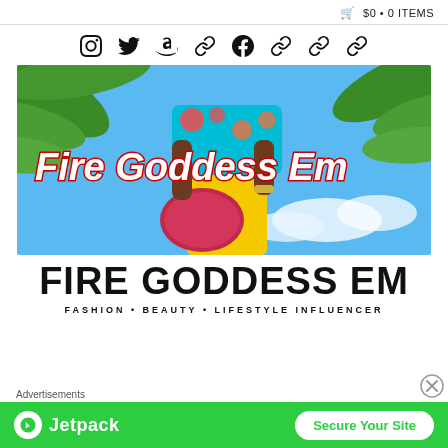🛒 $0 • 0 ITEMS
[Figure (other): Navigation icons: Instagram, Twitter, Amazon, chain link, Facebook, chain link, chain link, chain link]
[Figure (photo): Hero banner image showing a woman holding a red handbag, wearing a floral jacket and yellow skirt, standing in front of palm trees with blue sky. Text overlay reads: Fire Goddess Em]
FIRE GODDESS EM
FASHION • BEAUTY • LIFESTYLE INFLUENCER
Advertisements
[Figure (other): Jetpack advertisement banner with green background, Jetpack logo and 'Secure Your Site' button]